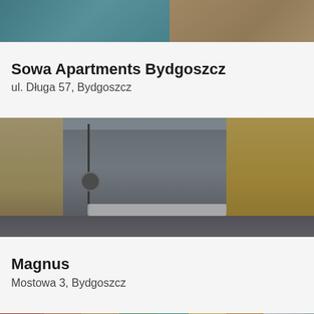[Figure (photo): Top portion of a hotel/apartment interior photo showing a bed with blue pillow and white bedding on the left, and a chair/desk area on the right, partially cropped at the top of the page]
Sowa Apartments Bydgoszcz
ul. Długa 57, Bydgoszcz
[Figure (photo): Street scene in Bydgoszcz showing historic tenement buildings lining a market square, a decorative clock on a pole in the foreground, grey overcast sky, outdoor market stalls with white canopies in the background]
Magnus
Mostowa 3, Bydgoszcz
[Figure (photo): Colorful painted building facades in bright red, green, teal, yellow and other colors, partially visible at the bottom of the page, cut off]